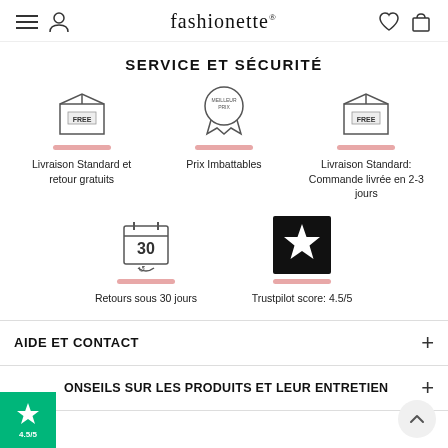fashionette
SERVICE ET SÉCURITÉ
[Figure (illustration): Three service icons in a row: a FREE shipping box, a price badge (Prix Imbattables), and another FREE shipping box, each with a pink bar underneath]
Livraison Standard et retour gratuits
Prix Imbattables
Livraison Standard: Commande livrée en 2-3 jours
[Figure (illustration): Two icons: a calendar showing 30 with a return arrow, and a Trustpilot black star icon, each with a pink bar underneath]
Retours sous 30 jours
Trustpilot score: 4.5/5
AIDE ET CONTACT
ONSEILS SUR LES PRODUITS ET LEUR ENTRETIEN